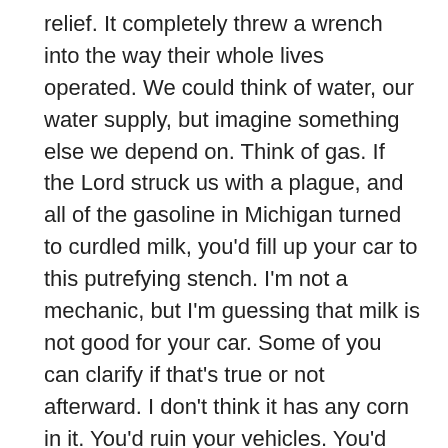relief. It completely threw a wrench into the way their whole lives operated. We could think of water, our water supply, but imagine something else we depend on. Think of gas. If the Lord struck us with a plague, and all of the gasoline in Michigan turned to curdled milk, you'd fill up your car to this putrefying stench. I'm not a mechanic, but I'm guessing that milk is not good for your car. Some of you can clarify if that's true or not afterward. I don't think it has any corn in it. You'd ruin your vehicles. You'd ruin your equipment. You'd mess up your infrastructure. You wouldn't know what you're going to do. Everything would grind to a halt.
That's what was happening there. Fish was their